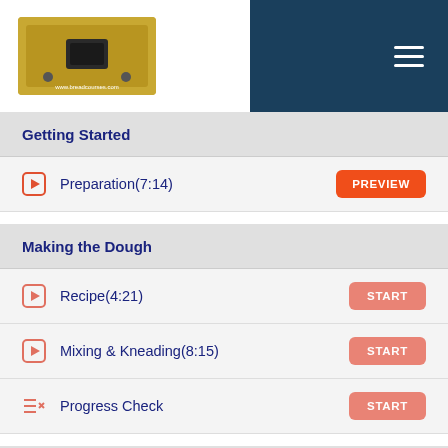www.breadcourses.com — navigation header with logo and hamburger menu
Getting Started
Preparation(7:14) — PREVIEW
Making the Dough
Recipe(4:21) — START
Mixing & Kneading(8:15) — START
Progress Check — START
Dividing & Moulding the Loaves